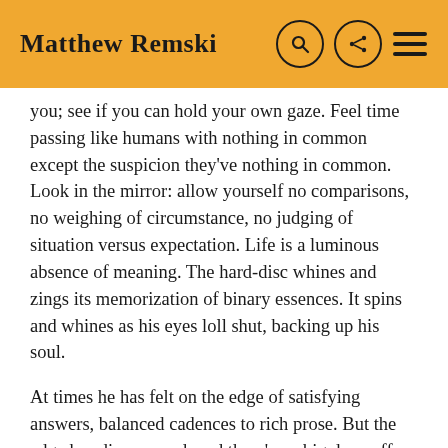Matthew Remski
you; see if you can hold your own gaze. Feel time passing like humans with nothing in common except the suspicion they've nothing in common. Look in the mirror: allow yourself no comparisons, no weighing of circumstance, no judging of situation versus expectation. Life is a luminous absence of meaning. The hard-disc whines and zings its memorization of binary essences. It spins and whines as his eyes loll shut, backing up his soul.
At times he has felt on the edge of satisfying answers, balanced cadences to rich prose. But the edge has disappeared, and there's no big drop-off — just a generalized sinking, buoyed up at moments of inadvertent participation in a culture he no longer has the energy to critique. And there's a lot of waiting-room, pause-button time, both desired for and created by